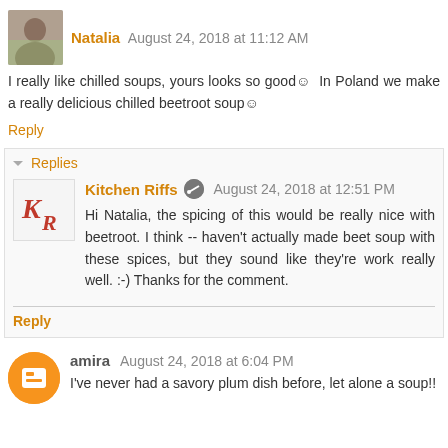Natalia  August 24, 2018 at 11:12 AM
I really like chilled soups, yours looks so good☺  In Poland we make a really delicious chilled beetroot soup☺
Reply
▾ Replies
Kitchen Riffs  August 24, 2018 at 12:51 PM
Hi Natalia, the spicing of this would be really nice with beetroot. I think -- haven't actually made beet soup with these spices, but they sound like they're work really well. :-) Thanks for the comment.
Reply
amira  August 24, 2018 at 6:04 PM
I've never had a savory plum dish before, let alone a soup!!